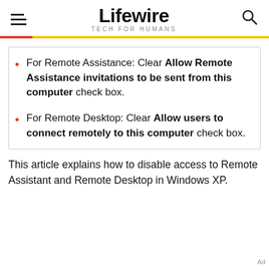Lifewire — TECH FOR HUMANS
For Remote Assistance: Clear Allow Remote Assistance invitations to be sent from this computer check box.
For Remote Desktop: Clear Allow users to connect remotely to this computer check box.
This article explains how to disable access to Remote Assistant and Remote Desktop in Windows XP.